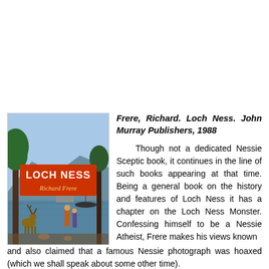[Figure (illustration): Book cover of 'Loch Ness' by Richard Frere, showing an illustrated scene of Loch Ness with trees, deer, a castle, mountains, and water. The title 'LOCH NESS' appears in white text on a red/orange banner, and 'Richard Frere' is shown below it.]
Frere, Richard. Loch Ness. John Murray Publishers, 1988

Though not a dedicated Nessie Sceptic book, it continues in the line of such books appearing at that time. Being a general book on the history and features of Loch Ness it has a chapter on the Loch Ness Monster. Confessing himself to be a Nessie Atheist, Frere makes his views known and also claimed that a famous Nessie photograph was hoaxed (which we shall speak about some other time).